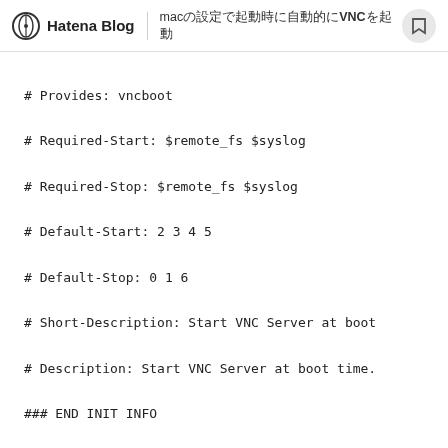Hatena Blog | mac（日本語タイトル）VNC設定
# Provides: vncboot
# Required-Start: $remote_fs $syslog
# Required-Stop: $remote_fs $syslog
# Default-Start: 2 3 4 5
# Default-Stop: 0 1 6
# Short-Description: Start VNC Server at boot
# Description: Start VNC Server at boot time.
### END INIT INFO

USER=root
HOME=/root


export USER HOME


case "$1" in